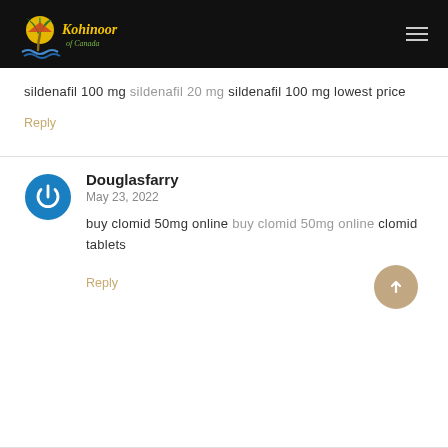[Figure (logo): Kohinoor of Canada logo with palm tree and water waves on black background header bar]
sildenafil 100 mg sildenafil 20 mg sildenafil 100 mg lowest price
Reply
Douglasfarry
May 23, 2022
buy clomid 50mg online buy clomid 50mg online clomid tablets
Reply